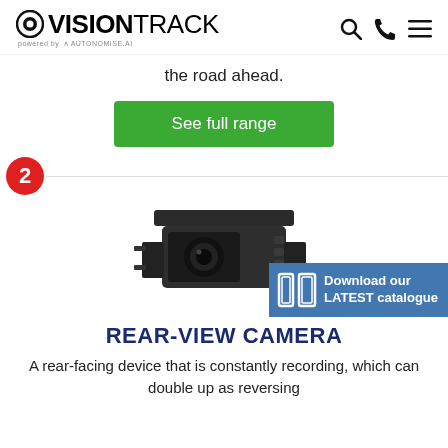VisionTrack powered by Autonomise.AI
the road ahead.
See full range
2
[Figure (photo): A rear-view vehicle camera, black housing with mounting bracket, bullet-style camera body]
Download our LATEST catalogue
REAR-VIEW CAMERA
A rear-facing device that is constantly recording, which can double up as reversing